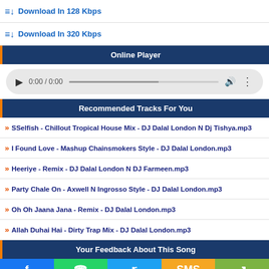Download In 128 Kbps
Download In 320 Kbps
Online Player
[Figure (other): Audio player widget showing 0:00 / 0:00 with play button, seek bar, volume, and more options]
Recommended Tracks For You
» SSelfish - Chillout Tropical House Mix - DJ Dalal London N Dj Tishya.mp3
» I Found Love - Mashup Chainsmokers Style - DJ Dalal London.mp3
» Heeriye - Remix - DJ Dalal London N DJ Farmeen.mp3
» Party Chale On - Axwell N Ingrosso Style - DJ Dalal London.mp3
» Oh Oh Jaana Jana - Remix - DJ Dalal London.mp3
» Allah Duhai Hai - Dirty Trap Mix - DJ Dalal London.mp3
Your Feedback About This Song
[Figure (infographic): Social share bar with Facebook, WhatsApp, Twitter, SMS, Share buttons]